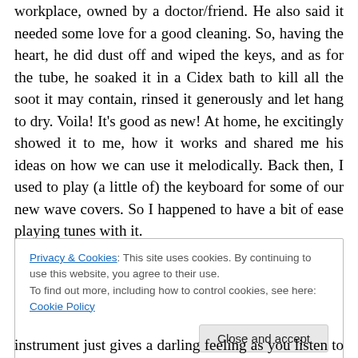workplace, owned by a doctor/friend. He also said it needed some love for a good cleaning. So, having the heart, he did dust off and wiped the keys, and as for the tube, he soaked it in a Cidex bath to kill all the soot it may contain, rinsed it generously and let hang to dry. Voila! It's good as new! At home, he excitingly showed it to me, how it works and shared me his ideas on how we can use it melodically. Back then, I used to play (a little of) the keyboard for some of our new wave covers. So I happened to have a bit of ease playing tunes with it.
Privacy & Cookies: This site uses cookies. By continuing to use this website, you agree to their use.
To find out more, including how to control cookies, see here: Cookie Policy
instrument just gives a darling feeling as you listen to it. It